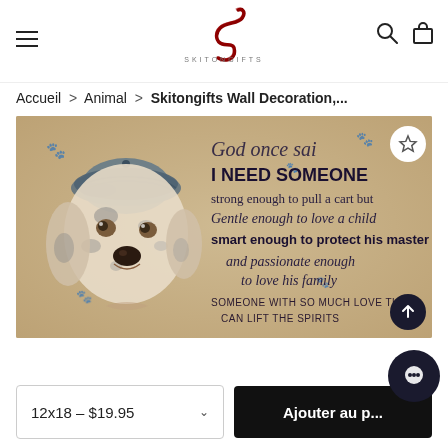[Figure (logo): Skitongifts cursive S logo in dark red with SKITONGIFTS text below]
Accueil > Animal > Skitongifts Wall Decoration,...
[Figure (photo): Watercolor illustration of a Dalmatian dog wearing a newsboy cap, with inspirational text: 'God once said I NEED SOMEONE strong enough to pull a cart but Gentle enough to love a child smart enough to protect his master and passionate enough to love his family SOMEONE WITH SO MUCH LOVE THIS CAN LIFT THE SPIRITS']
12x18 - $19.95
Ajouter au p...